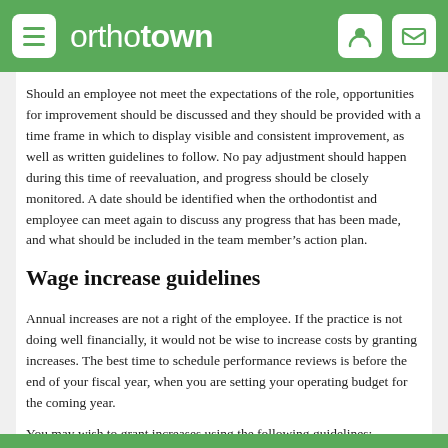orthotown
Should an employee not meet the expectations of the role, opportunities for improvement should be discussed and they should be provided with a time frame in which to display visible and consistent improvement, as well as written guidelines to follow. No pay adjustment should happen during this time of reevaluation, and progress should be closely monitored. A date should be identified when the orthodontist and employee can meet again to discuss any progress that has been made, and what should be included in the team member’s action plan.
Wage increase guidelines
Annual increases are not a right of the employee. If the practice is not doing well financially, it would not be wise to increase costs by granting increases. The best time to schedule performance reviews is before the end of your fiscal year, when you are setting your operating budget for the coming year.
You may wish to grant increases using the following guidelines: